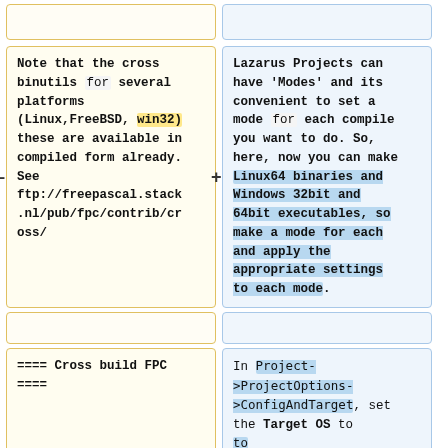[top bar left - empty]
[top bar right - empty]
Note that the cross binutils for several platforms (Linux,FreeBSD, win32) these are available in compiled form already. See ftp://freepascal.stack.nl/pub/fpc/contrib/cross/
Lazarus Projects can have 'Modes' and its convenient to set a mode for each compile you want to do. So, here, now you can make Linux64 binaries and Windows 32bit and 64bit executables, so make a mode for each and apply the appropriate settings to each mode.
[mid bar left - empty]
[mid bar right - empty]
==== Cross build FPC ====
In Project->ProjectOptions->ConfigAndTarget, set the Target OS to